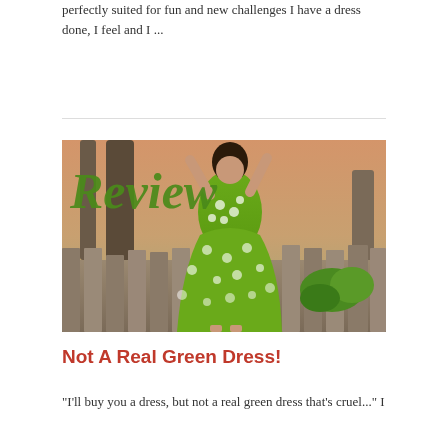perfectly suited for fun and new challenges I have a dress done, I feel and I ...
[Figure (photo): A woman in a bright green floral sundress standing in front of a wooden fence and trees, arms raised, with a large green 'Review' text overlay in the upper left of the image.]
Not A Real Green Dress!
"I'll buy you a dress, but not a real green dress that's cruel..." I